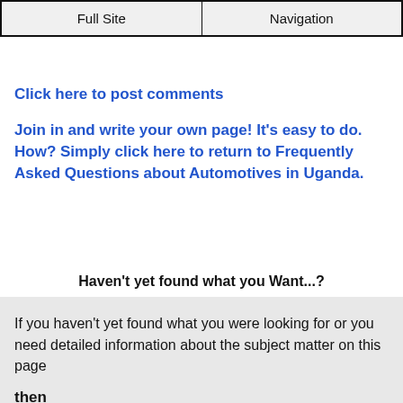Full Site | Navigation
Click here to post comments
Join in and write your own page! It's easy to do. How? Simply click here to return to Frequently Asked Questions about Automotives in Uganda.
Haven't yet found what you Want...?
If you haven't yet found what you were looking for or you need detailed information about the subject matter on this page

then